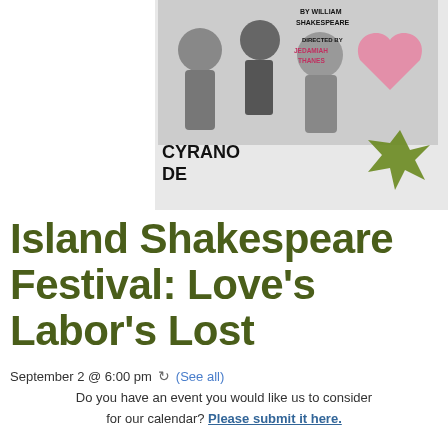[Figure (illustration): Theater poster showing performers in dramatic poses, with text 'BY WILLIAM SHAKESPEARE', 'DIRECTED BY JEDAMIAH THANES', 'CYRANO DE' visible on the poster.]
Island Shakespeare Festival: Love's Labor's Lost
September 2 @ 6:00 pm  ↻ (See all)
Do you have an event you would like us to consider for our calendar? Please submit it here.